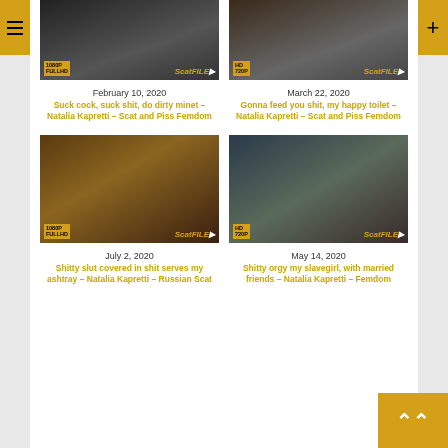[Figure (photo): Video thumbnail top-left showing adult content, 1080P badge, SeatFile logo]
[Figure (photo): Video thumbnail top-right showing adult content, HD 720P badge, SeatFile logo]
February 10, 2020
Suck cock, suck shit, do dirty minet – Natalia Kapretti – Scat and Piss Femdom
March 22, 2020
Gonna feed you shit, my happy toilet – Natalia Kapretti – Scat and Piss Femdom
[Figure (photo): Video thumbnail bottom-left showing adult content, 1080P badge, SeatFile logo]
[Figure (photo): Video thumbnail bottom-right showing adult content, HD 720P badge, SeatFile logo]
July 2, 2020
Shitty slut covered in shit serves my ashtray – Natalia Kapretti – Russian Scat
May 14, 2020
Shitty orgy my slavegirl, with married friends – Natalia Kapretti – Femdom